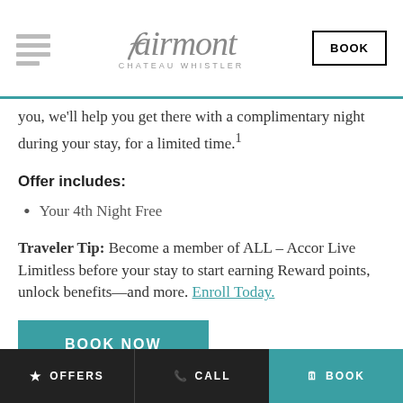Fairmont Chateau Whistler — BOOK
you, we'll help you get there with a complimentary night during your stay, for a limited time.¹
Offer includes:
Your 4th Night Free
Traveler Tip: Become a member of ALL – Accor Live Limitless before your stay to start earning Reward points, unlock benefits—and more. Enroll Today.
BOOK NOW
Availability
Book by January 19, 2022 for stays until June 30,
OFFERS   CALL   BOOK